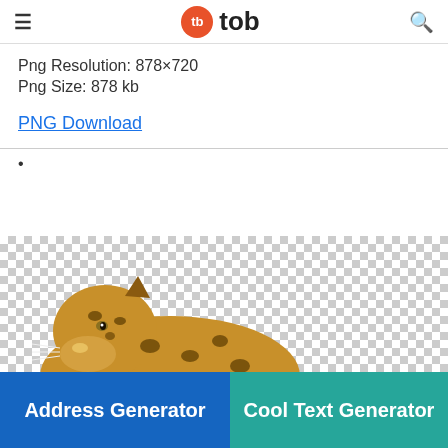tb tob
Png Resolution: 878×720
Png Size: 878 kb
PNG Download
•
[Figure (photo): A leopard resting on a transparent/checkered background, with dry grass to the right. A modal dialog overlays the top-right portion of the image reading 'Browser not compatible — You may need to update your browser' with a Report ID link and a close button.]
Address Generator
Cool Text Generator